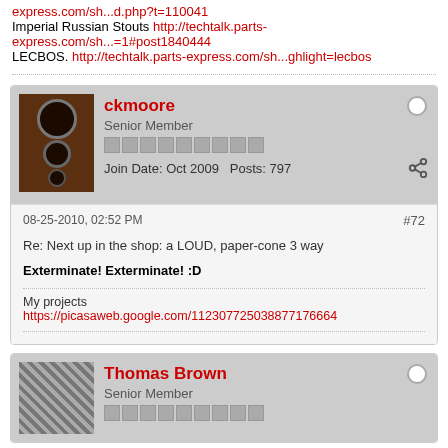Imperial Russian Stouts http://techtalk.parts-express.com/sh...=1#post1840444
LECBOS. http://techtalk.parts-express.com/sh...ghlight=lecbos
[Figure (photo): Forum user avatar showing a tall floor-standing speaker in brown/dark wood finish]
ckmoore
Senior Member
Join Date: Oct 2009  Posts: 797
08-25-2010, 02:52 PM   #72
Re: Next up in the shop: a LOUD, paper-cone 3 way
Exterminate! Exterminate! :D
My projects
https://picasaweb.google.com/112307725038877176664
[Figure (photo): Forum user avatar showing a knitted/textured fabric pattern in grey tones]
Thomas Brown
Senior Member